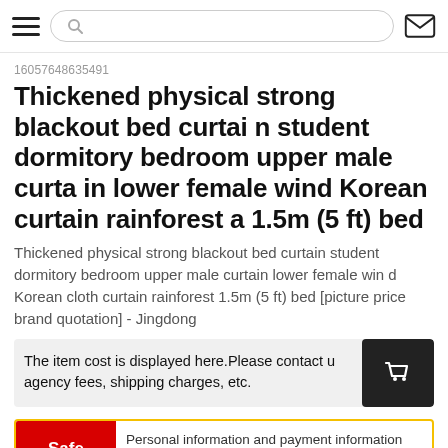Search bar and navigation
160576486354​91
Thickened physical strong blackout bed curtain student dormitory bedroom upper male curtain lower female wind Korean curtain rainforest a 1.5m (5 ft) bed
Thickened physical strong blackout bed curtain student dormitory bedroom upper male curtain lower female wind Korean cloth curtain rainforest 1.5m (5 ft) bed [picture price brand quotation] - Jingdong
The item cost is displayed here.Please contact u agency fees, shipping charges, etc.
Safe  Personal information and payment information will not be disclosed to sellers.
add to cart
purchase